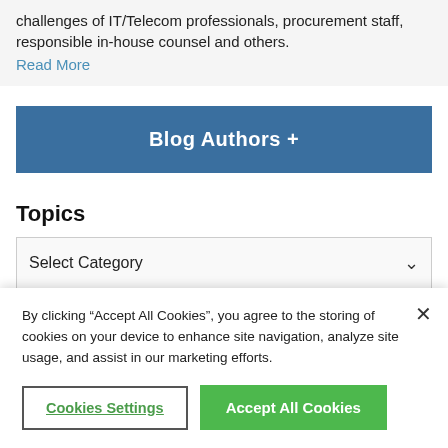challenges of IT/Telecom professionals, procurement staff, responsible in-house counsel and others.
Read More
Blog Authors +
Topics
Select Category
By clicking “Accept All Cookies”, you agree to the storing of cookies on your device to enhance site navigation, analyze site usage, and assist in our marketing efforts.
Cookies Settings
Accept All Cookies